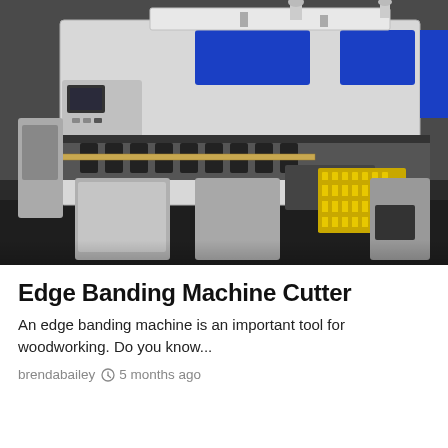[Figure (photo): Industrial edge banding machine cutter photographed from a low angle, showing a large white and blue industrial machine with metal components, yellow safety guards, and mechanical parts on a dark floor.]
Edge Banding Machine Cutter
An edge banding machine is an important tool for woodworking. Do you know...
brendabailey   5 months ago